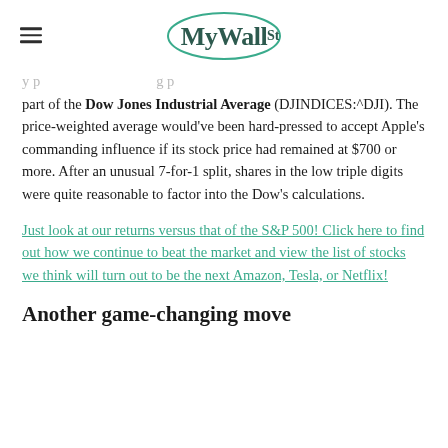MyWallSt
part of the Dow Jones Industrial Average (DJINDICES:^DJI). The price-weighted average would've been hard-pressed to accept Apple's commanding influence if its stock price had remained at $700 or more. After an unusual 7-for-1 split, shares in the low triple digits were quite reasonable to factor into the Dow's calculations.
Just look at our returns versus that of the S&P 500! Click here to find out how we continue to beat the market and view the list of stocks we think will turn out to be the next Amazon, Tesla, or Netflix!
Another game-changing move